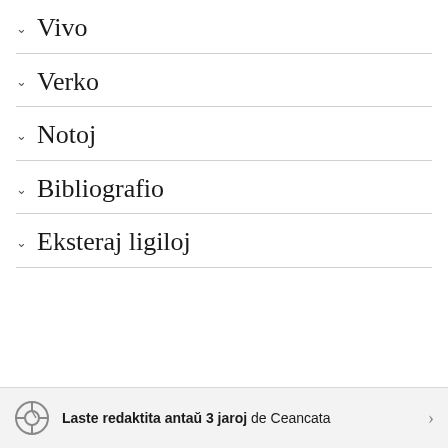Vivo
Verko
Notoj
Bibliografio
Eksteraj ligiloj
Laste redaktita antaŭ 3 jaroj de Ceancata